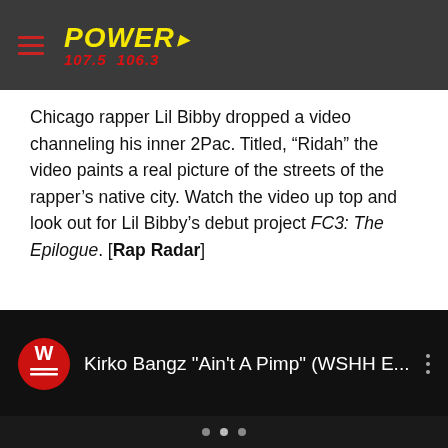POWER 107.5 106.3
Chicago rapper Lil Bibby dropped a video channeling his inner 2Pac. Titled, “Ridah” the video paints a real picture of the streets of the rapper’s native city. Watch the video up top and look out for Lil Bibby’s debut project FC3: The Epilogue. [Rap Radar]
[Figure (screenshot): YouTube video embed showing Kirko Bangz 'Ain't A Pimp' (WSHH E... with WSHH WorldStarHipHop logo on dark background]